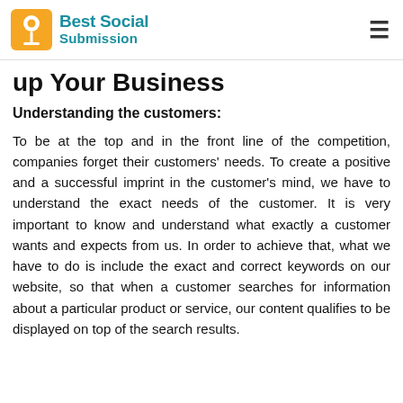Best Social Submission
up Your Business
Understanding the customers:
To be at the top and in the front line of the competition, companies forget their customers' needs. To create a positive and a successful imprint in the customer's mind, we have to understand the exact needs of the customer. It is very important to know and understand what exactly a customer wants and expects from us. In order to achieve that, what we have to do is include the exact and correct keywords on our website, so that when a customer searches for information about a particular product or service, our content qualifies to be displayed on top of the search results.